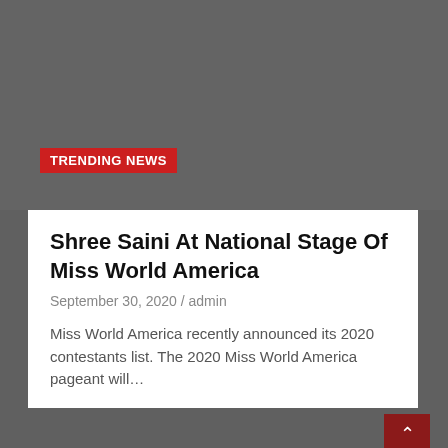[Figure (photo): Gray background area at top of page]
TRENDING NEWS
Shree Saini At National Stage Of Miss World America
September 30, 2020 / admin
Miss World America recently announced its 2020 contestants list. The 2020 Miss World America pageant will…
[Figure (photo): Gray background area at bottom of page with red scroll-to-top button]